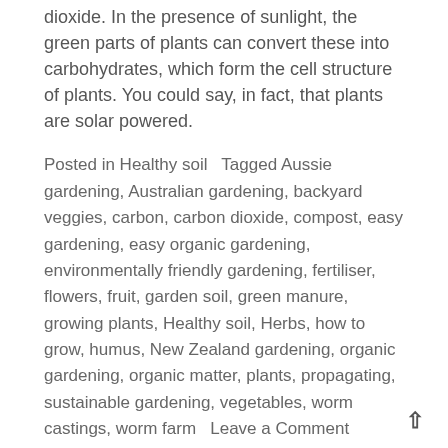dioxide. In the presence of sunlight, the green parts of plants can convert these into carbohydrates, which form the cell structure of plants. You could say, in fact, that plants are solar powered.
Posted in Healthy soil   Tagged Aussie gardening, Australian gardening, backyard veggies, carbon, carbon dioxide, compost, easy gardening, easy organic gardening, environmentally friendly gardening, fertiliser, flowers, fruit, garden soil, green manure, growing plants, Healthy soil, Herbs, how to grow, humus, New Zealand gardening, organic gardening, organic matter, plants, propagating, sustainable gardening, vegetables, worm castings, worm farm   Leave a Comment